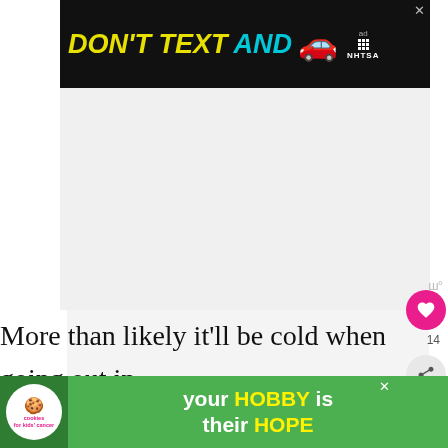[Figure (screenshot): Top banner advertisement: black background with yellow italic text 'DON'T TEXT AND' followed by a red car emoji and NHTSA logo (ad choice icon and X close button in top right)]
[Figure (screenshot): Large white/gray advertisement placeholder area]
More than likely it'll be cold when going out in the winter time (depending on where you live so adding tights to the outfit will help keep y...
[Figure (screenshot): Bottom banner advertisement: green background with cookies for kids cancer logo on left and text 'your HOBBY is their HOPE' in white and yellow]